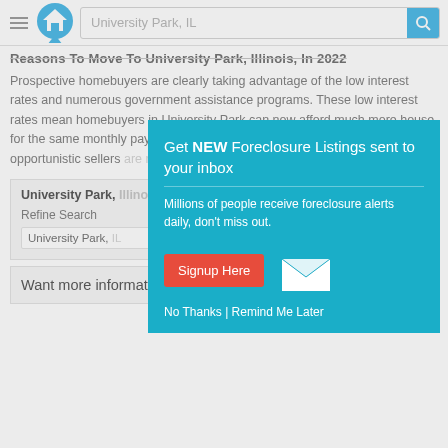University Park, IL — navigation header with search
Reasons To Move To University Park, Illinois, In 2022
Prospective homebuyers are clearly taking advantage of the low interest rates and numerous government assistance programs. These low interest rates mean homebuyers in University Park can now afford much more house for the same monthly payment (if interest r... opportunistic sellers... multiple offers from...
University Park,
Refine Search
University Park,
[Figure (screenshot): Modal popup overlay: 'Get NEW Foreclosure Listings sent to your inbox' with Signup Here button and envelope icon]
Want more information on listings?